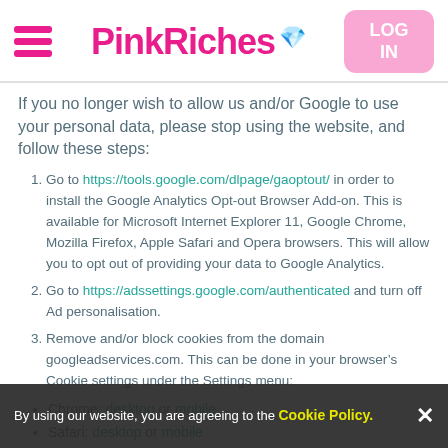PinkRiches
If you no longer wish to allow us and/or Google to use your personal data, please stop using the website, and follow these steps:
1. Go to https://tools.google.com/dlpage/gaoptout/ in order to install the Google Analytics Opt-out Browser Add-on. This is available for Microsoft Internet Explorer 11, Google Chrome, Mozilla Firefox, Apple Safari and Opera browsers. This will allow you to opt out of providing your data to Google Analytics.
2. Go to https://adssettings.google.com/authenticated and turn off Ad personalisation.
3. Remove and/or block cookies from the domain googleadservices.com. This can be done in your browser’s Cookie settings under the Settings menu:
Chrome: desktop or mobile
Safari: desktop or mobile
Internet Explorer - desktop or mobile
Firefox desktop and Android
Android Browser: Click on top right corner of the app labelled with ‘More’ or three dots) > Settings > Privacy
By using our website, you are agreeing to the Cookie Policy. ×